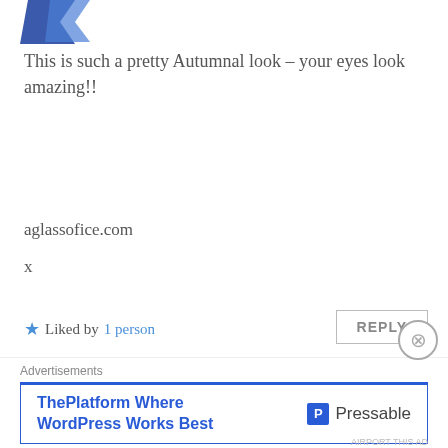[Figure (logo): Partial blue logo in top left corner]
This is such a pretty Autumnal look – your eyes look amazing!!
aglassofice.com
x
★ Liked by 1 person
REPLY
beccapbeauty
OCTOBER 26, 2016 AT 2:24 PM
Thank you so much! X
Advertisements
ThePlatform Where WordPress Works Best